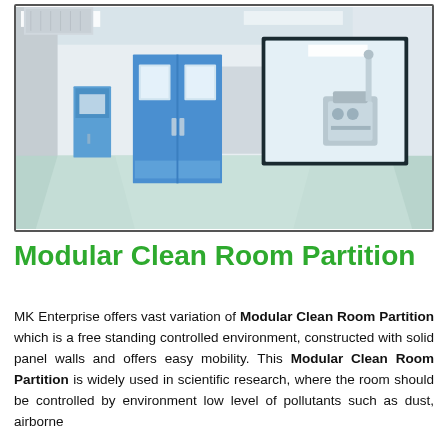[Figure (photo): Interior photograph of a modular clean room corridor with white walls, blue double-swing doors with small windows, a large observation window revealing stainless steel equipment inside, and a light green/white epoxy floor.]
Modular Clean Room Partition
MK Enterprise offers vast variation of Modular Clean Room Partition which is a free standing controlled environment, constructed with solid panel walls and offers easy mobility. This Modular Clean Room Partition is widely used in scientific research, where the room should be controlled by environment low level of pollutants such as dust, airborne